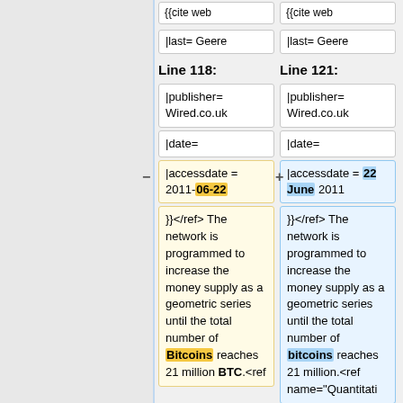{{cite web
|last= Geere
Line 118:
Line 121:
|publisher= Wired.co.uk
|publisher= Wired.co.uk
|date=
|date=
|accessdate = 2011-06-22
|accessdate = 22 June 2011
}}></ref> The network is programmed to increase the money supply as a geometric series until the total number of Bitcoins reaches 21 million BTC.<ref
}}></ref> The network is programmed to increase the money supply as a geometric series until the total number of bitcoins reaches 21 million.<ref name="Quantitati